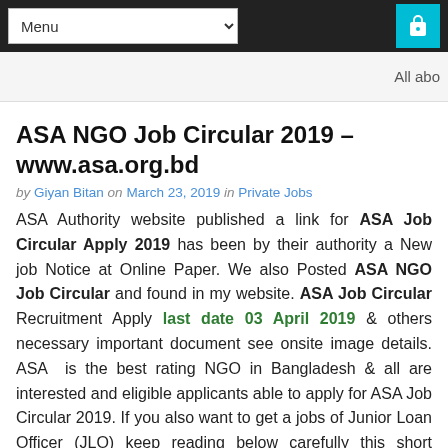Menu | All abo
ASA NGO Job Circular 2019 – www.asa.org.bd
by Giyan Bitan on March 23, 2019 in Private Jobs
ASA Authority website published a link for ASA Job Circular Apply 2019 has been by their authority a New job Notice at Online Paper. We also Posted ASA NGO Job Circular and found in my website. ASA Job Circular Recruitment Apply last date 03 April 2019 & others necessary important document see onsite image details. ASA is the best rating NGO in Bangladesh & all are interested and eligible applicants able to apply for ASA Job Circular 2019. If you also want to get a jobs of Junior Loan Officer (JLO) keep reading below carefully this short information. Update ASA NGO Job notice total 720 new vacancy of this circular and also found on my website & If you also want to get